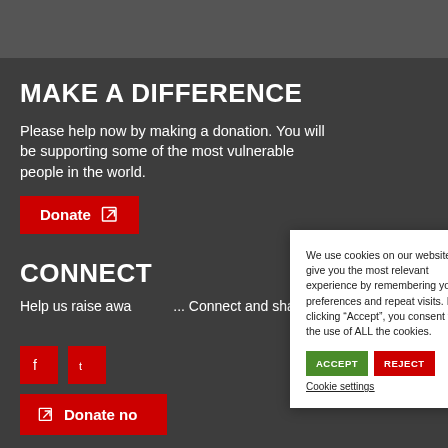MAKE A DIFFERENCE
Please help now by making a donation. You will be supporting some of the most vulnerable people in the world.
Donate
CONNECT
Help us raise awareness. Connect and share
Donate now
GET UPDATES
We use cookies on our website to give you the most relevant experience by remembering your preferences and repeat visits. By clicking “Accept”, you consent to the use of ALL the cookies.
ACCEPT
REJECT
Cookie settings